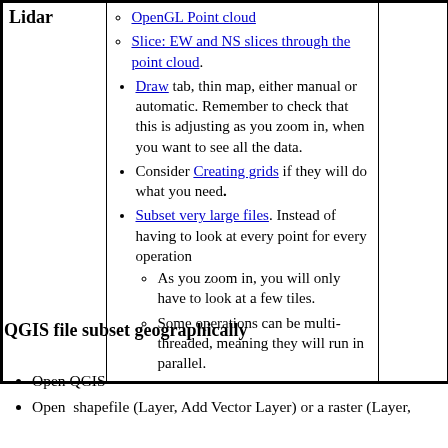|  | Content |  |
| --- | --- | --- |
| Lidar | OpenGL Point cloud
Slice: EW and NS slices through the point cloud.
Draw tab, thin map, either manual or automatic. Remember to check that this is adjusting as you zoom in, when you want to see all the data.
Consider Creating grids if they will do what you need.
Subset very large files. Instead of having to look at every point for every operation
As you zoom in, you will only have to look at a few tiles.
Some operations can be multi-threaded, meaning they will run in parallel. |  |
QGIS file subset geographically
Open QGIS
Open shapefile (Layer, Add Vector Layer) or a raster (Layer,